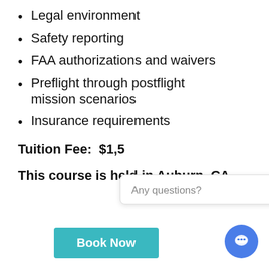Legal environment
Safety reporting
FAA authorizations and waivers
Preflight through postflight mission scenarios
Insurance requirements
Tuition Fee:  $1,5
This course is held in Auburn, CA